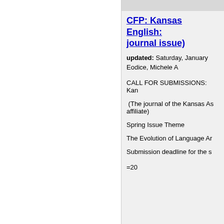CFP: Kansas English: journal issue)
updated: Saturday, January
Eodice, Michele A
CALL FOR SUBMISSIONS: Kan
(The journal of the Kansas As affiliate)
Spring Issue Theme
The Evolution of Language Ar
Submission deadline for the s
=20